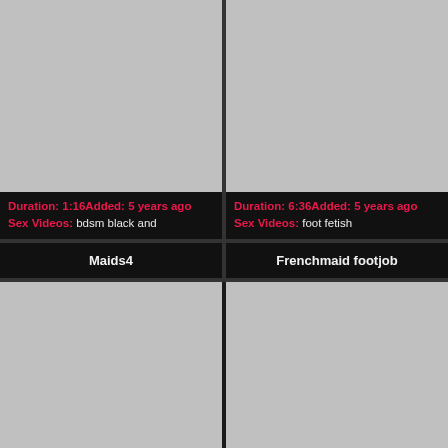[Figure (photo): Gray placeholder thumbnail, top left]
[Figure (photo): Gray placeholder thumbnail, top right]
Duration: 1:16Added: 5 years ago
Sex Videos: bdsm black and
Duration: 6:36Added: 5 years ago
Sex Videos: foot fetish
Maids4
Frenchmaid footjob
[Figure (photo): Gray placeholder thumbnail, bottom left]
[Figure (photo): Gray placeholder thumbnail, bottom right]